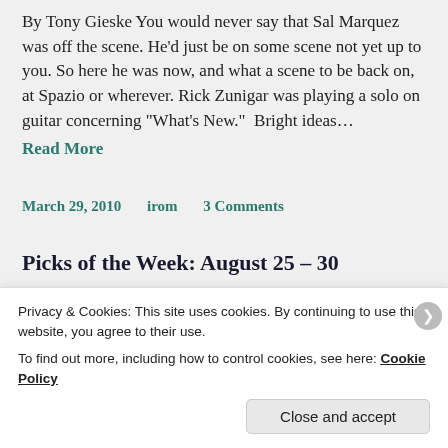By Tony Gieske You would never say that Sal Marquez was off the scene. He'd just be on some scene not yet up to you. So here he was now, and what a scene to be back on, at Spazio or wherever. Rick Zunigar was playing a solo on guitar concerning “What’s New.”  Bright ideas…
Read More
March 29, 2010     irom     3 Comments
Picks of the Week: August 25 – 30
By Don Heckman Los Angeles – Aug. 25. (Tues.) Placido Domingo and Yo-Yo Ma and the L.A. Philharmonic.
Privacy & Cookies: This site uses cookies. By continuing to use this website, you agree to their use.
To find out more, including how to control cookies, see here: Cookie Policy
Close and accept